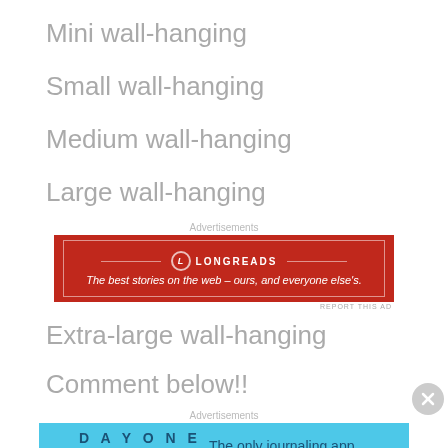Mini wall-hanging
Small wall-hanging
Medium wall-hanging
Large wall-hanging
[Figure (other): Longreads advertisement: red banner with text 'The best stories on the web – ours, and everyone else's.']
Extra-large wall-hanging
Comment below!!
[Figure (other): Day One journaling app advertisement: blue banner with text 'The only journaling app you'll ever need.']